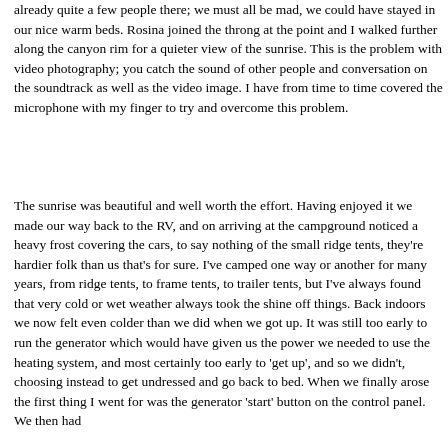already quite a few people there; we must all be mad, we could have stayed in our nice warm beds. Rosina joined the throng at the point and I walked further along the canyon rim for a quieter view of the sunrise. This is the problem with video photography; you catch the sound of other people and conversation on the soundtrack as well as the video image. I have from time to time covered the microphone with my finger to try and overcome this problem.
The sunrise was beautiful and well worth the effort. Having enjoyed it we made our way back to the RV, and on arriving at the campground noticed a heavy frost covering the cars, to say nothing of the small ridge tents, they're hardier folk than us that's for sure. I've camped one way or another for many years, from ridge tents, to frame tents, to trailer tents, but I've always found that very cold or wet weather always took the shine off things. Back indoors we now felt even colder than we did when we got up. It was still too early to run the generator which would have given us the power we needed to use the heating system, and most certainly too early to 'get up', and so we didn't, choosing instead to get undressed and go back to bed. When we finally arose the first thing I went for was the generator 'start' button on the control panel. We then had